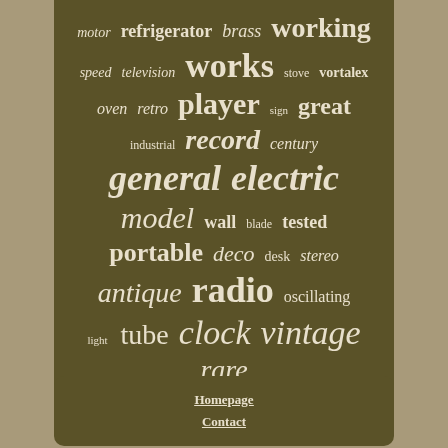[Figure (infographic): Word cloud with vintage/antique electronics related terms on dark olive/brown background. Words include: motor, refrigerator, brass, working, speed, television, works, stove, vortalex, oven, retro, player, sign, great, industrial, record, century, general, electric, model, wall, blade, tested, portable, deco, desk, stereo, antique, radio, oscillating, tube, clock, vintage, light, rare]
Homepage
Contact